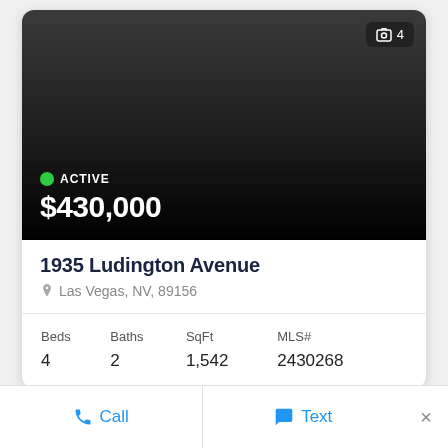[Figure (photo): Dark/blank property photo area with image count badge showing 4 photos]
ACTIVE
$430,000
1935 Ludington Avenue
Las Vegas, NV, 89156
| Beds | Baths | SqFt | MLS# |
| --- | --- | --- | --- |
| 4 | 2 | 1,542 | 2430268 |
Call
Text